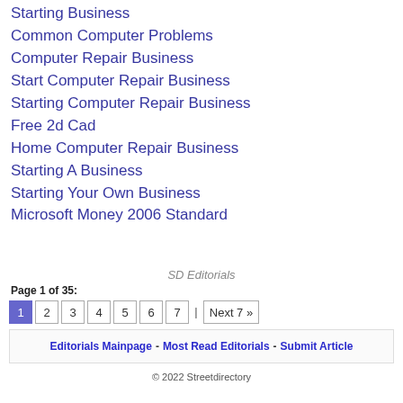Starting Business
Common Computer Problems
Computer Repair Business
Start Computer Repair Business
Starting Computer Repair Business
Free 2d Cad
Home Computer Repair Business
Starting A Business
Starting Your Own Business
Microsoft Money 2006 Standard
SD Editorials
Page 1 of 35:
1 2 3 4 5 6 7 | Next 7 »
Editorials Mainpage - Most Read Editorials - Submit Article
© 2022 Streetdirectory